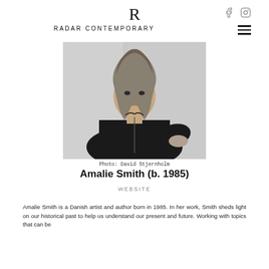R RADAR CONTEMPORARY
[Figure (photo): Black and white portrait photo of Amalie Smith, a young woman with shoulder-length hair, wearing a dark zip-up jacket, seated and looking at the camera. Photo credit: David Stjernholm.]
Photo: David Stjernholm
Amalie Smith (b. 1985)
WEBSITE
Amalie Smith is a Danish artist and author born in 1985. In her work, Smith sheds light on our historical past to help us understand our present and future. Working with topics that can be